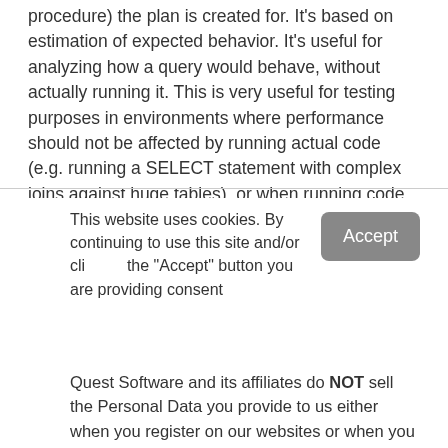procedure) the plan is created for. It's based on estimation of expected behavior. It's useful for analyzing how a query would behave, without actually running it. This is very useful for testing purposes in environments where performance should not be affected by running actual code (e.g. running a SELECT statement with complex joins against huge tables), or when running code is not possible due to data changes it makes (e.g.
This website uses cookies. By continuing to use this site and/or clicking the "Accept" button you are providing consent
Quest Software and its affiliates do NOT sell the Personal Data you provide to us either when you register on our websites or when you do business with us. For more information about our Privacy Policy and our data protection efforts, please visit GDPR-HQ